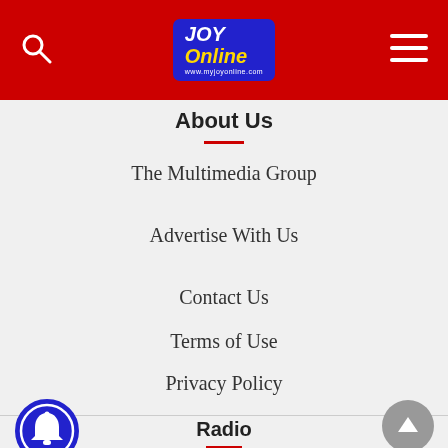JOY Online
About Us
The Multimedia Group
Advertise With Us
Contact Us
Terms of Use
Privacy Policy
Radio
Joy 99.7 FM
Adom 106.3 FM